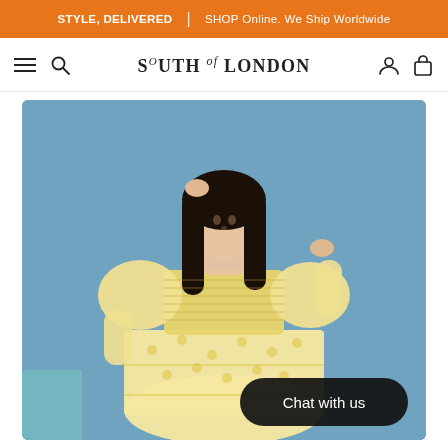STYLE, DELIVERED | SHOP Online. We Ship Worldwide
[Figure (logo): South of London brand logo with navigation icons: hamburger menu, search, user account, and shopping bag]
[Figure (photo): A young woman with long dark hair and bangs wearing a yellow floral/abstract print smocked dress with long puffed sleeves, posed against a blue background, hands near her hair. A 'Chat with us' button overlay appears in the bottom right.]